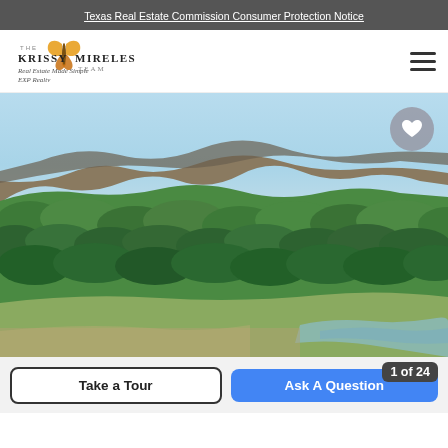Texas Real Estate Commission Consumer Protection Notice
[Figure (logo): The Krissy Mireles Team Real Estate Made Simple EXP Realty logo with butterfly graphic]
[Figure (photo): Aerial drone photograph of Texas ranchland showing dense green brush/trees in foreground, a river or body of water visible bottom right, and mesa/ridge terrain in background under light blue sky]
Take a Tour
Ask A Question
1 of 24